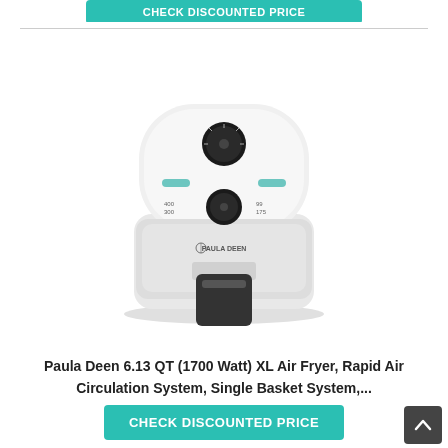[Figure (screenshot): Partially visible teal/green 'CHECK DISCOUNTED PRICE' button at the top of the page]
[Figure (photo): Paula Deen white air fryer with black knobs and handle, front view on white background]
[Figure (other): Numbered list icon inside a rounded rectangle border]
Paula Deen 6.13 QT (1700 Watt) XL Air Fryer, Rapid Air Circulation System, Single Basket System,...
[Figure (screenshot): 'CHECK DISCOUNTED PRICE' teal button at bottom of page]
[Figure (other): Dark gray scroll-to-top arrow button at bottom right]